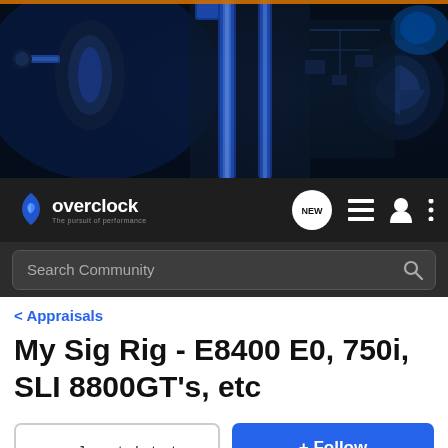[Figure (photo): Hero banner showing PC liquid cooling components with blue tubes and hardware on dark background]
overclock - The pursuit of performance
Search Community
< Appraisals
My Sig Rig - E8400 E0, 750i, SLI 8800GT's, etc
→ Jump to Latest
+ Follow
1 - 5 of 5 Posts